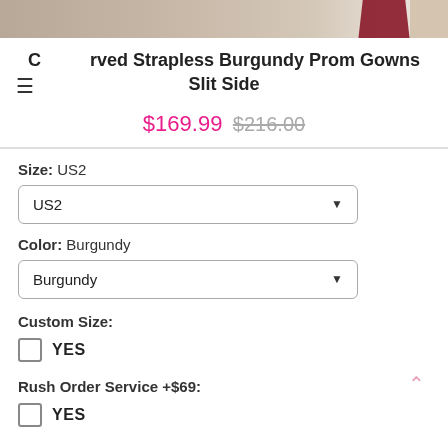[Figure (photo): Partial photo of a burgundy prom gown on a light background, cropped at top of page]
Curved Strapless Burgundy Prom Gowns Slit Side
$169.99  $216.00
Size:  US2
US2 (dropdown)
Color:  Burgundy
Burgundy (dropdown)
Custom Size:
YES
Rush Order Service +$69:
YES